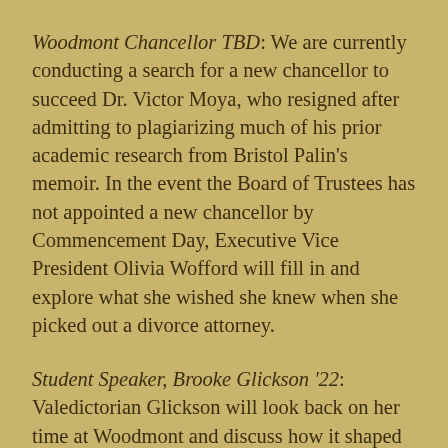Woodmont Chancellor TBD: We are currently conducting a search for a new chancellor to succeed Dr. Victor Moya, who resigned after admitting to plagiarizing much of his prior academic research from Bristol Palin's memoir. In the event the Board of Trustees has not appointed a new chancellor by Commencement Day, Executive Vice President Olivia Wofford will fill in and explore what she wished she knew when she picked out a divorce attorney.
Student Speaker, Brooke Glickson '22: Valedictorian Glickson will look back on her time at Woodmont and discuss how it shaped her decision to drop out of society the moment commencement ends.